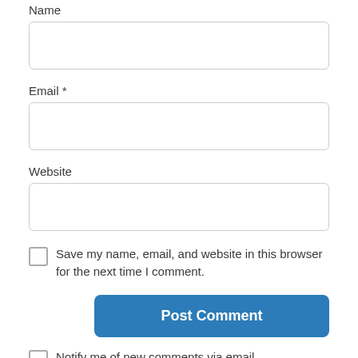Name
[Figure (screenshot): Empty text input box for Name field]
Email *
[Figure (screenshot): Empty text input box for Email field]
Website
[Figure (screenshot): Empty text input box for Website field]
Save my name, email, and website in this browser for the next time I comment.
Post Comment
Notify me of new comments via email.